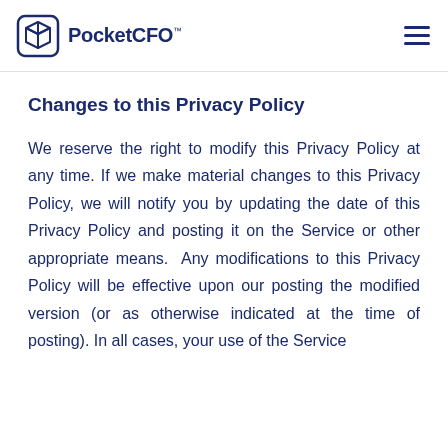PocketCFO™
Changes to this Privacy Policy
We reserve the right to modify this Privacy Policy at any time. If we make material changes to this Privacy Policy, we will notify you by updating the date of this Privacy Policy and posting it on the Service or other appropriate means.  Any modifications to this Privacy Policy will be effective upon our posting the modified version (or as otherwise indicated at the time of posting). In all cases, your use of the Service